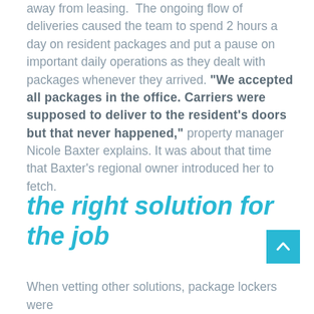away from leasing. The ongoing flow of deliveries caused the team to spend 2 hours a day on resident packages and put a pause on important daily operations as they dealt with packages whenever they arrived. “We accepted all packages in the office. Carriers were supposed to deliver to the resident’s doors but that never happened,” property manager Nicole Baxter explains. It was about that time that Baxter’s regional owner introduced her to fetch.
the right solution for the job
When vetting other solutions, package lockers were